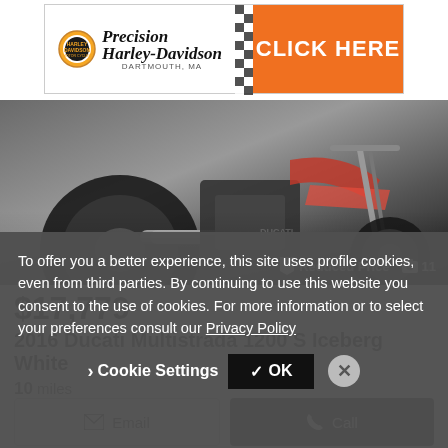[Figure (screenshot): Precision Harley-Davidson advertisement banner with orange CLICK HERE button]
[Figure (photo): 2016 Ducati Multistrada 1200 S Iceberg White motorcycle photo with Reduced Price badge and photo count of 11]
$17,779
2016 Ducati Multistrada 1200 S Iceberg White
10 miles
Dunbar Euro-Sports
Brockton, MA - 0 mi. away
Email
Call
To offer you a better experience, this site uses profile cookies, even from third parties. By continuing to use this website you consent to the use of cookies. For more information or to select your preferences consult our Privacy Policy
Cookie Settings
OK